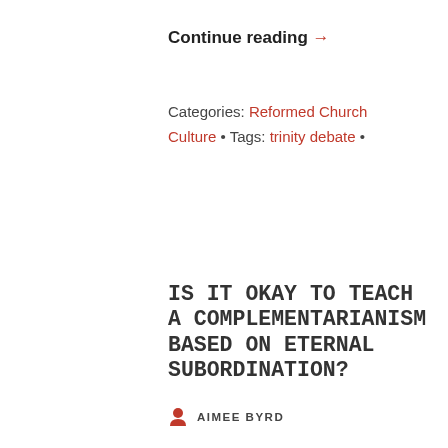Continue reading →
Categories: Reformed Church Culture • Tags: trinity debate •
IS IT OKAY TO TEACH A COMPLEMENTARIANISM BASED ON ETERNAL SUBORDINATION?
AIMEE BYRD
1 COMMENT